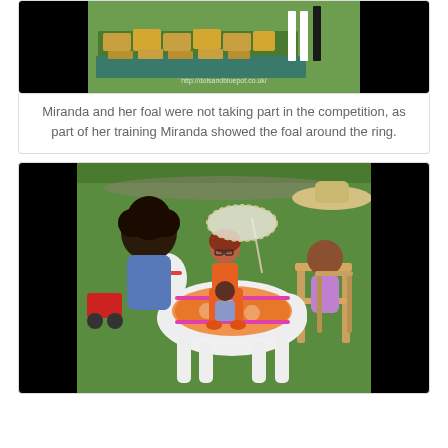[Figure (photo): Photo of straw/hay bales stacked on green grass with horse legs visible in background, watermark reads http://dolsandbluepot.co.uk/]
Miranda and her foal were not taking part in the competition, as part of her training Miranda showed the foal around the ring.
[Figure (photo): Photo of dolls outdoors on grass - a dark-skinned boy doll in blue shirt, a girl doll with glasses in orange outfit riding a white horse with decorative saddle, another doll in striped outfit, and a doll in purple near a wooden chair, with a cowboy hat visible and a small red toy vehicle on the side.]